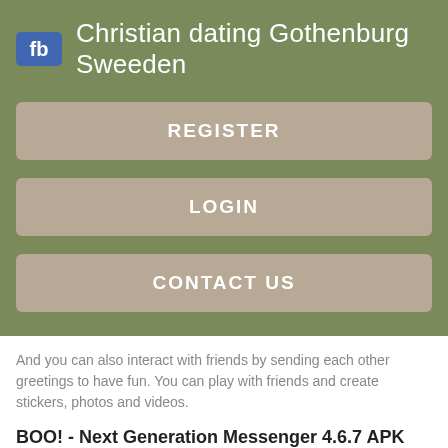Christian dating Gothenburg Sweeden
REGISTER
LOGIN
CONTACT US
And you can also interact with friends by sending each other greetings to have fun. You can play with friends and create stickers, photos and videos.
BOO! - Next Generation Messenger 4.6.7 APK
Make your avatar dance or play together with friends. Use 2-person stickers featuring you and your friends directly in Boo.
Social Networking Software.